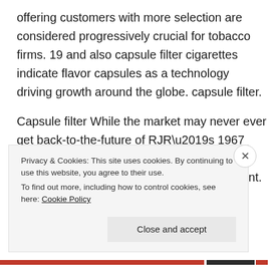offering customers with more selection are considered progressively crucial for tobacco firms. 19 and also capsule filter cigarettes indicate flavor capsules as a technology driving growth around the globe. capsule filter.
Capsule filter While the market may never ever get back-to-the-future of RJR’s 1967 Vitamin A-containing filter prototype, pills provide a brand-new window of advancement. How well
Privacy & Cookies: This site uses cookies. By continuing to use this website, you agree to their use.
To find out more, including how to control cookies, see here: Cookie Policy
Close and accept